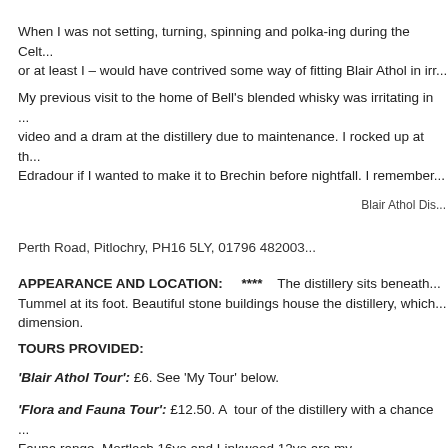When I was not setting, turning, spinning and polka-ing during the Celt... or at least I – would have contrived some way of fitting Blair Athol in irr...
My previous visit to the home of Bell's blended whisky was irritating in ... video and a dram at the distillery due to maintenance. I rocked up at th... Edradour if I wanted to make it to Brechin before nightfall. I remember...
Blair Athol Dis...
Perth Road, Pitlochry, PH16 5LY, 01796 482003
APPEARANCE AND LOCATION:    ****    The distillery sits beneath... Tummel at its foot. Beautiful stone buildings house the distillery, which... dimension.
TOURS PROVIDED:
'Blair Athol Tour': £6. See 'My Tour' below.
'Flora and Fauna Tour': £12.50. A tour of the distillery with a chance... Fauna range. Mortlach 16yo and Linkwood 12yo are my recommendat...